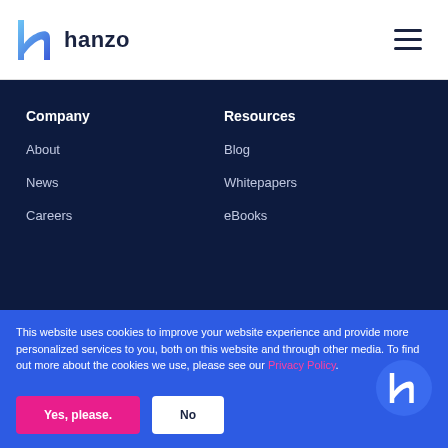hanzo
Company
About
News
Careers
Resources
Blog
Whitepapers
eBooks
This website uses cookies to improve your website experience and provide more personalized services to you, both on this website and through other media. To find out more about the cookies we use, please see our Privacy Policy.
We won't track your information when you visit our site. But in order to comply with your preferences, we'll have to use just one tiny cookie so that you're not asked to make this choice again.
Yes, please.
No